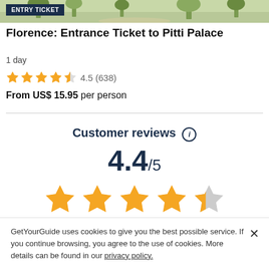[Figure (photo): Park/garden background photo strip with trees and path]
ENTRY TICKET
Florence: Entrance Ticket to Pitti Palace
1 day
4.5 (638)
From US$ 15.95 per person
Customer reviews
4.4/5
based on 3,466 reviews
GetYourGuide uses cookies to give you the best possible service. If you continue browsing, you agree to the use of cookies. More details can be found in our privacy policy.